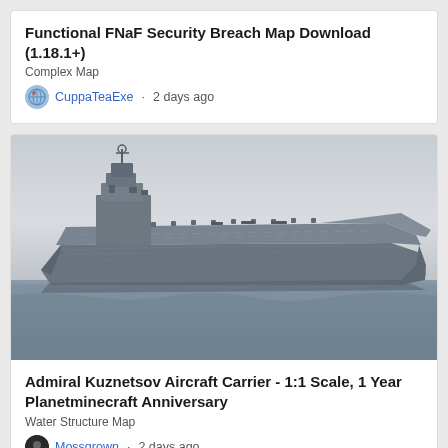Functional FNaF Security Breach Map Download (1.18.1+)
Complex Map
CuppaTeaExe · 2 days ago
[Figure (photo): Black and white photograph of the Admiral Kuznetsov aircraft carrier at sea, showing its distinctive angled flight deck, island superstructure, and hull.]
Admiral Kuznetsov Aircraft Carrier - 1:1 Scale, 1 Year Planetminecraft Anniversary
Water Structure Map
Mossgrown · 2 days ago